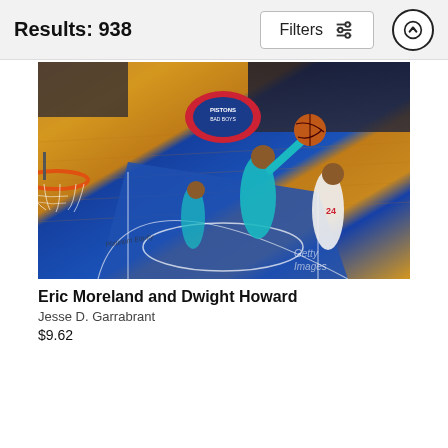Results: 938
[Figure (photo): Aerial view of an NBA basketball game: a player in a teal Charlotte Hornets jersey (#8) going up for a layup, reaching toward the basket, while a Detroit Pistons player (#24) defends. Another Hornets player stands in the background. The shot is taken from behind and above the backboard, showing the wooden court, blue paint, Pistons logo, and a packed arena crowd. Getty Images watermark visible.]
Eric Moreland and Dwight Howard
Jesse D. Garrabrant
$9.62